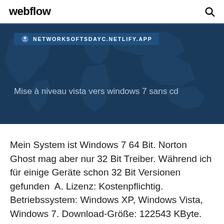webflow
[Figure (screenshot): Dark blue banner with URL bar showing NETWORKSOFTSDAYC.NETLIFY.APP and text 'Mise à niveau vista vers windows 7 sans cd' with a world map silhouette in the background]
Mein System ist Windows 7 64 Bit. Norton Ghost mag aber nur 32 Bit Treiber. Während ich für einige Geräte schon 32 Bit Versionen gefunden  A. Lizenz: Kostenpflichtig. Betriebssystem: Windows XP, Windows Vista, Windows 7. Download-Größe: 122543 KByte.